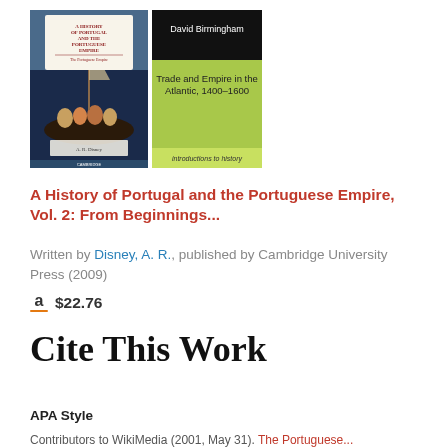[Figure (photo): Two book covers side by side: 'A History of Portugal and the Portuguese Empire' by A.R. Disney (Cambridge), and 'Trade and Empire in the Atlantic, 1400-1600' by David Birmingham (Introductions to History, green cover).]
A History of Portugal and the Portuguese Empire, Vol. 2: From Beginnings...
Written by Disney, A. R., published by Cambridge University Press (2009)
a $22.76
Cite This Work
APA Style
Contributors to WikiMedia (2001, May 31). The Portuguese...